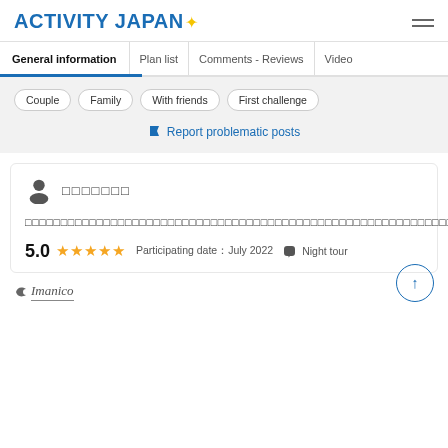ACTIVITY JAPAN
General information | Plan list | Comments - Reviews | Video
Couple
Family
With friends
First challenge
🚩 Report problematic posts
□□□□□□□
□□□□□□□□□□□□□□□□□□□□□□□□□□□□□□□□□□□□□□□□□□□□□□□□□□□□□□□□□□□□□□□□□□□□□□□□□□□□□□□□□□□□□□□□□□□□□□□□□□□□□□□□□□□□□□□□□□□□□□□□□□□□□□□□□□□□□□□□□□□□□□□□□□□□□□□□□□□□□□□□□□□□□□□□□□□□□□□□□□□□□□□□□□□□□□□□□□□□□□□□□□□□□□□□□□□□□□□□□□□□□□□□□□□
5.0 ★★★★★ Participating date：July 2022 🏷 Night tour
Imanico